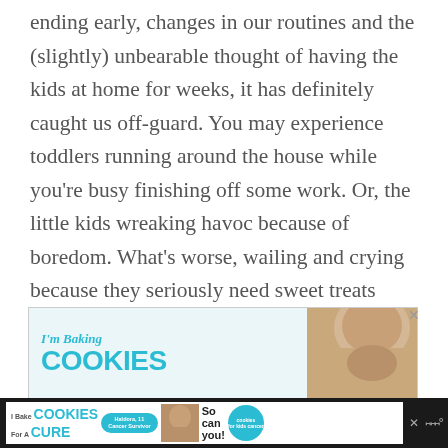ending early, changes in our routines and the (slightly) unbearable thought of having the kids at home for weeks, it has definitely caught us off-guard. You may experience toddlers running around the house while you're busy finishing off some work. Or, the little kids wreaking havoc because of boredom. What's worse, wailing and crying because they seriously need sweet treats ASAP!
[Figure (other): Advertisement banner: 'I'm Baking COOKIES' with a child's photo, with a close (x) button]
[Figure (other): Bottom advertisement bar: 'I Bake COOKIES For A CURE' with Haldora cancer survivor badge, 'So can you!' text, cookies for kids cancer logo, and a child photo. Dark background bar with close button and MW logo.]